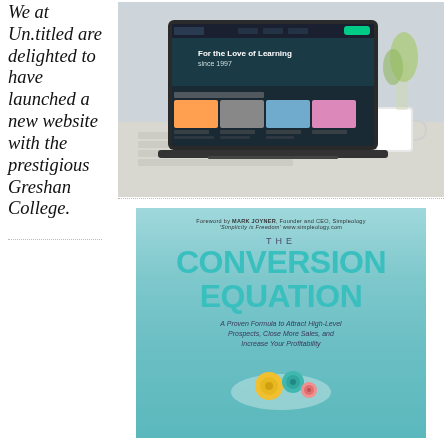We at Un.titled are delighted to have launched a new website with the prestigious Greshan College.
[Figure (screenshot): Laptop computer displaying a website with 'For the Love of Learning since 1997' header and course thumbnails, on a desk with keyboard and coffee mug]
[Figure (photo): Book cover: 'The Conversion Equation - A Proven Formula to Attract High-Level Prospects, Close More Sales, and Increase Your Profitability', foreword by Mark Joyner, Founder and CEO Simpleology]